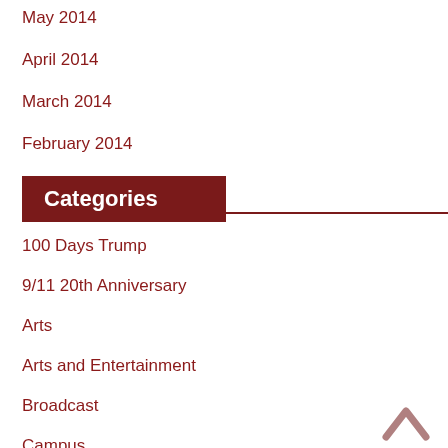May 2014
April 2014
March 2014
February 2014
Categories
100 Days Trump
9/11 20th Anniversary
Arts
Arts and Entertainment
Broadcast
Campus
Cardinal Sports
Changes/Adaptations